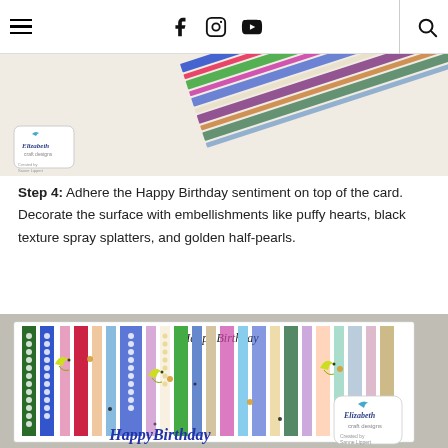navigation header with hamburger menu, social icons (facebook, instagram, youtube), and search
[Figure (photo): Photo of colorful decorative ribbon/border strips fanned out diagonally on a white surface with Elizabeth Craft Designs logo badge. Created by Sanne Lippert.]
Step 4: Adhere the Happy Birthday sentiment on top of the card. Decorate the surface with embellishments like puffy hearts, black texture spray splatters, and golden half-pearls.
[Figure (photo): Photo of finished Happy Birthday card with colorful ribbon strips arranged vertically, yellow bird/butterfly embellishments, black texture spray splatters, golden half-pearls, 'Happy Birthday' text in cursive at top and bottom, with Elizabeth Craft Designs logo badge. Created by Sanne Lippert.]